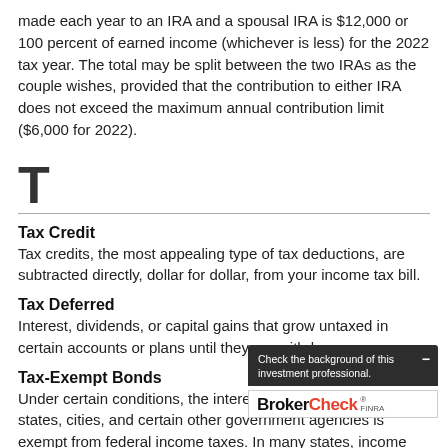made each year to an IRA and a spousal IRA is $12,000 or 100 percent of earned income (whichever is less) for the 2022 tax year. The total may be split between the two IRAs as the couple wishes, provided that the contribution to either IRA does not exceed the maximum annual contribution limit ($6,000 for 2022).
T
Tax Credit
Tax credits, the most appealing type of tax deductions, are subtracted directly, dollar for dollar, from your income tax bill.
Tax Deferred
Interest, dividends, or capital gains that grow untaxed in certain accounts or plans until they are withdrawn.
Tax-Exempt Bonds
Under certain conditions, the interest from bonds issued by states, cities, and certain other government agencies is exempt from federal income taxes. In many states, income from tax-exempt bonds will also be exempt from state and local income taxes. If you sell a tax-exempt bond at a profit, you could incur capital gains taxes. Some tax-exempt interest could be subject to the federal alternative minimum tax. The principal value of bonds fluctuates with market